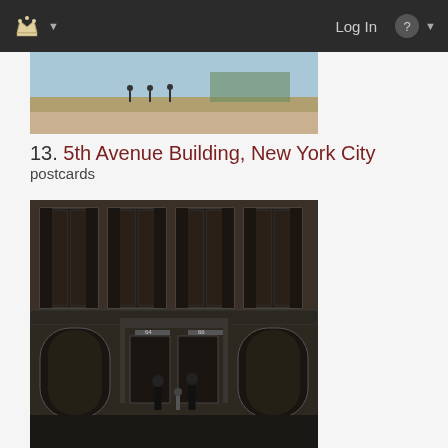Log In
[Figure (photo): Cropped top portion of a historical photograph showing an outdoor scene with people and a road]
13. 5th Avenue Building, New York City
postcards
[Figure (photo): Black and white historical photograph of a two-story brick building with arched windows and shutters. Three people stand in front of the entrance doors numbered 64 and 66.]
14. 64 West 22nd Street, New York City